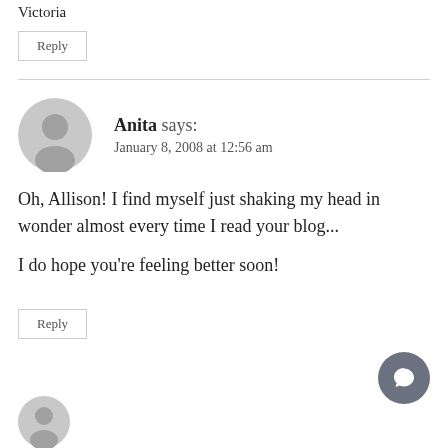Victoria
Reply
Anita says:
January 8, 2008 at 12:56 am
Oh, Allison! I find myself just shaking my head in wonder almost every time I read your blog...
I do hope you're feeling better soon!
Reply